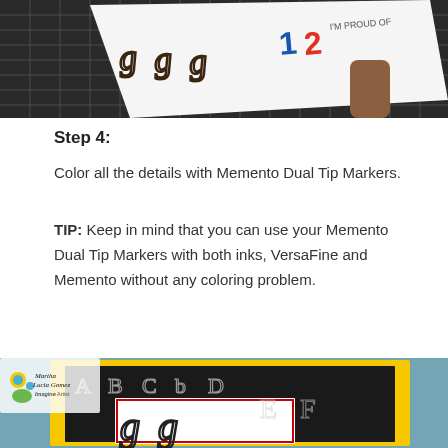[Figure (photo): Close-up photo of stamped letter outlines on a white card placed on a black grid cutting mat, showing cursive letter stamps including the number 12 in blue and red with 'I'm Proud Of' text visible]
Step 4:
Color all the details with Memento Dual Tip Markers.
TIP: Keep in mind that you can use your Memento Dual Tip Markers with both inks, VersaFine and Memento without any coloring problem.
[Figure (photo): Photo of a greeting card craft project showing a chalkboard-style dark card with alphabet letters A B C D E F outlined in chalk style, framed by yellow and red borders, with Martha Lucia Gomez Imagine Artist logo in upper left corner]